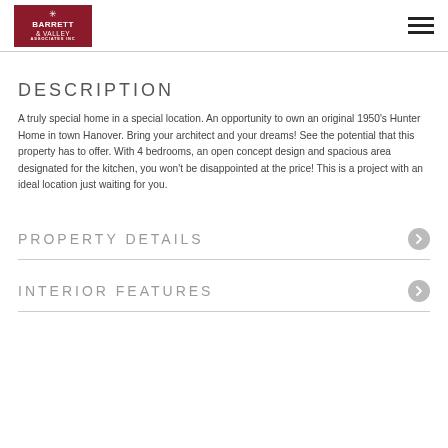Barrett & Valley Associates Inc
DESCRIPTION
A truly special home in a special location. An opportunity to own an original 1950's Hunter Home in town Hanover. Bring your architect and your dreams! See the potential that this property has to offer. With 4 bedrooms, an open concept design and spacious area designated for the kitchen, you won't be disappointed at the price! This is a project with an ideal location just waiting for you.
PROPERTY DETAILS
INTERIOR FEATURES